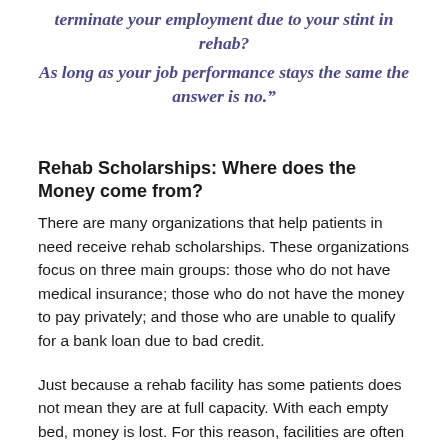terminate your employment due to your stint in rehab? As long as your job performance stays the same the answer is no."
Rehab Scholarships: Where does the Money come from?
There are many organizations that help patients in need receive rehab scholarships. These organizations focus on three main groups: those who do not have medical insurance; those who do not have the money to pay privately; and those who are unable to qualify for a bank loan due to bad credit.
Just because a rehab facility has some patients does not mean they are at full capacity. With each empty bed, money is lost. For this reason, facilities are often times open to “selling” treatment episodes to a third party. In turn, those in